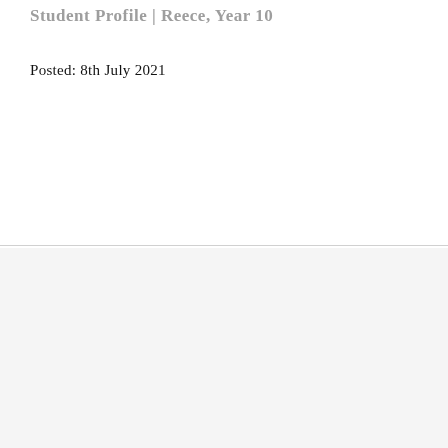Student Profile | Reece, Year 10
Posted: 8th July 2021
We use cookies on our website to give you the most relevant experience by remembering your preferences and repeat visits. By clicking “Accept All”, you consent to the use of ALL the cookies. However, you may visit "Cookie Settings" to provide a controlled consent.